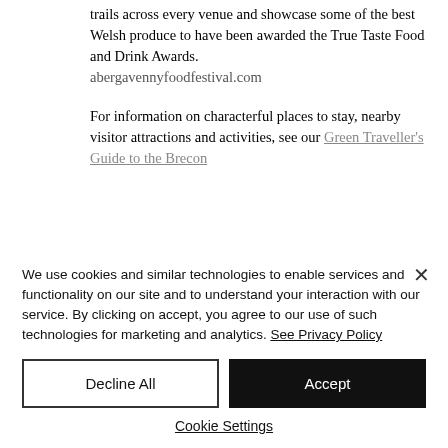is probably the True Taste trail, which trails across every venue and showcase some of the best Welsh produce to have been awarded the True Taste Food and Drink Awards.
abergavennyfoodfestival.com
For information on characterful places to stay, nearby visitor attractions and activities, see our Green Traveller's Guide to the Brecon
We use cookies and similar technologies to enable services and functionality on our site and to understand your interaction with our service. By clicking on accept, you agree to our use of such technologies for marketing and analytics. See Privacy Policy
Decline All
Accept
Cookie Settings